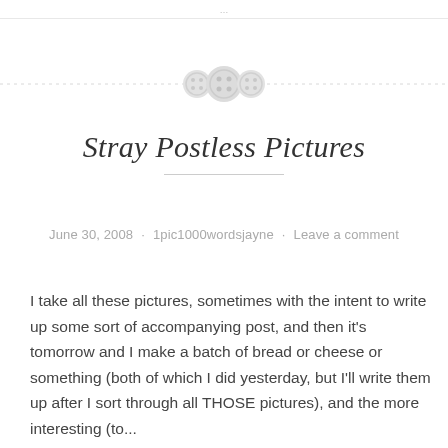…
[Figure (illustration): Decorative divider with three button icons (two small, one large in center) flanked by dashed horizontal lines]
Stray Postless Pictures
June 30, 2008 · 1pic1000wordsjayne · Leave a comment
I take all these pictures, sometimes with the intent to write up some sort of accompanying post, and then it's tomorrow and I make a batch of bread or cheese or something (both of which I did yesterday, but I'll write them up after I sort through all THOSE pictures), and the more interesting (to...